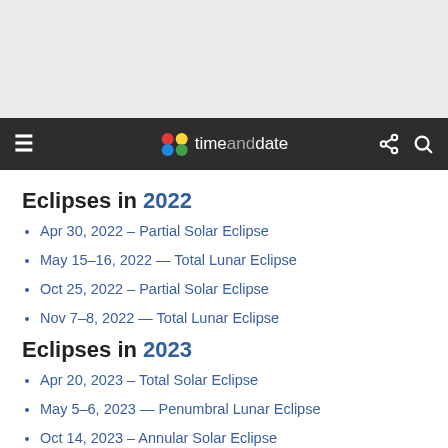[Figure (other): Gray advertisement/banner area at top of page]
timeanddate navigation bar with hamburger menu, logo, share and search icons
Eclipses in 2022
Apr 30, 2022 – Partial Solar Eclipse
May 15–16, 2022 — Total Lunar Eclipse
Oct 25, 2022 – Partial Solar Eclipse
Nov 7–8, 2022 — Total Lunar Eclipse
Eclipses in 2023
Apr 20, 2023 – Total Solar Eclipse
May 5–6, 2023 — Penumbral Lunar Eclipse
Oct 14, 2023 – Annular Solar Eclipse
Oct 28–29, 2023 — Partial Lunar Eclipse